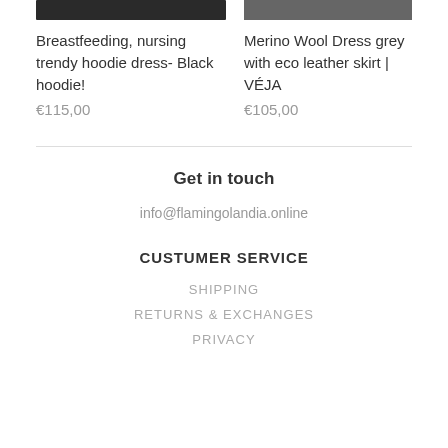[Figure (photo): Product image of black hoodie dress (partial, cropped at top)]
Breastfeeding, nursing trendy hoodie dress- Black hoodie!
€115,00
[Figure (photo): Product image of Merino Wool Dress with eco leather skirt (partial, cropped at top)]
Merino Wool Dress grey with eco leather skirt | VÉJA
€105,00
Get in touch
info@flamingolandia.online
CUSTUMER SERVICE
SHIPPING
RETURNS & EXCHANGES
PRIVACY